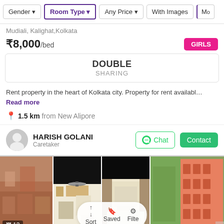Gender | Room Type | Any Price | With Images | Mo...
Mudiali, Kalighat, Kolkata
₹8,000/bed  GIRLS
DOUBLE SHARING
Rent property in the heart of Kolkata city. Property for rent availabl… Read more
1.5 km from New Alipore
HARISH GOLANI  Caretaker
[Figure (photo): Four property photos showing a building exterior, bedroom with fan, bedroom with bed, and a multi-story pink/orange building exterior. A photo count badge '13' is visible on the first photo.]